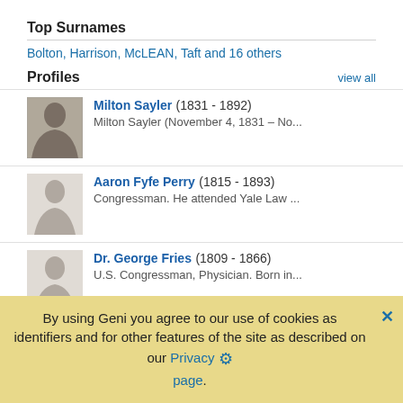Top Surnames
Bolton, Harrison, McLEAN, Taft and 16 others
Profiles
Milton Sayler (1831 - 1892)
Milton Sayler (November 4, 1831 – No...
Aaron Fyfe Perry (1815 - 1893)
Congressman. He attended Yale Law ...
Dr. George Fries (1809 - 1866)
U.S. Congressman, Physician. Born in...
Rep. Valentine Baxter Horton, (R-OH) (1802 - 1888)
Baxter Horton (January 29, 1802 – Ja...
John Crafts Wright (1783 - 1861)
John Crafts Wright (August 17, 1783 –...
By using Geni you agree to our use of cookies as identifiers and for other features of the site as described on our Privacy page.